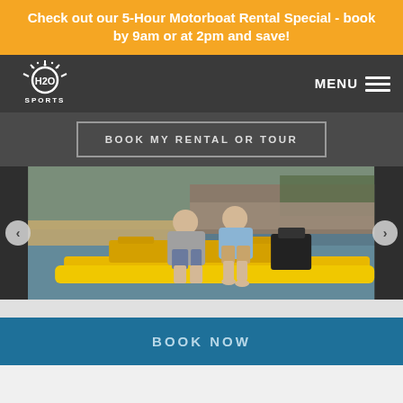Check out our 5-Hour Motorboat Rental Special - book by 9am or at 2pm and save!
[Figure (logo): H2O Sports logo - white splash graphic with H2O text and SPORTS below]
MENU
BOOK MY RENTAL OR TOUR
[Figure (photo): Two people sitting on a yellow motorboat/watercraft on the water, with trees and rocky shoreline in background]
BOOK NOW